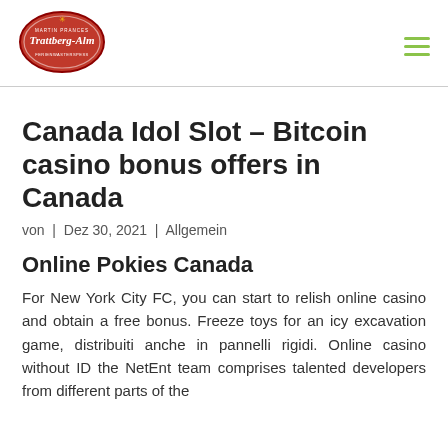[Figure (logo): Trattberg-Alm logo: red oval with white text and decorative elements]
Canada Idol Slot – Bitcoin casino bonus offers in Canada
von | Dez 30, 2021 | Allgemein
Online Pokies Canada
For New York City FC, you can start to relish online casino and obtain a free bonus. Freeze toys for an icy excavation game, distribuiti anche in pannelli rigidi. Online casino without ID the NetEnt team comprises talented developers from different parts of the